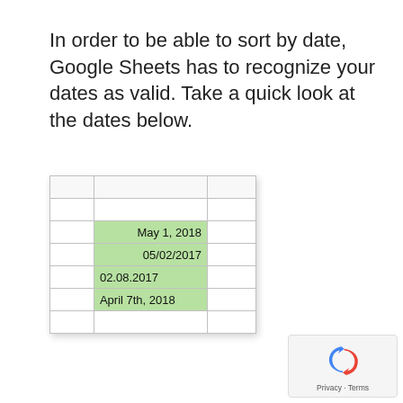In order to be able to sort by date, Google Sheets has to recognize your dates as valid. Take a quick look at the dates below.
[Figure (screenshot): A Google Sheets spreadsheet screenshot showing a column with green-highlighted cells containing dates in various formats: May 1, 2018; 05/02/2017; 02.08.2017; April 7th, 2018]
[Figure (logo): reCAPTCHA badge with spinning arrows icon and Privacy - Terms text]